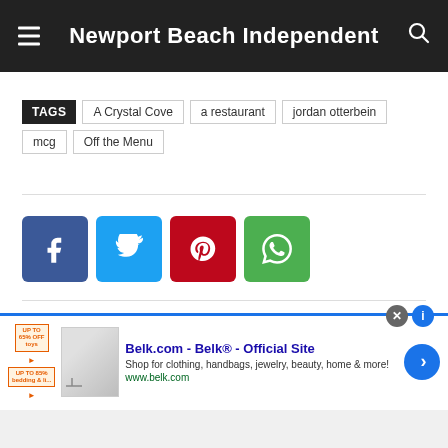Newport Beach Independent
TAGS  A Crystal Cove  a restaurant  jordan otterbein  mcg  Off the Menu
[Figure (other): Social sharing buttons: Facebook (blue), Twitter (light blue), Pinterest (red), WhatsApp (green)]
[Figure (other): Advertisement banner for Belk.com - Belk® - Official Site. Shop for clothing, handbags, jewelry, beauty, home & more! www.belk.com]